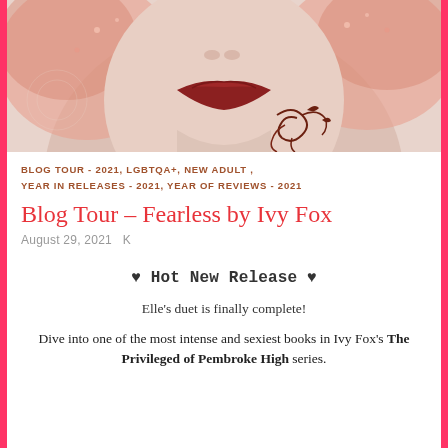[Figure (illustration): Close-up illustration of a woman's face with decorative floral/swirl tattoo on her neck, pink/salmon toned hair and skin, wearing dark burgundy lipstick.]
BLOG TOUR - 2021, LGBTQA+, NEW ADULT, YEAR IN RELEASES - 2021, YEAR OF REVIEWS - 2021
Blog Tour – Fearless by Ivy Fox
August 29, 2021  K
♥ Hot New Release ♥
Elle's duet is finally complete!
Dive into one of the most intense and sexiest books in Ivy Fox's The Privileged of Pembroke High series.